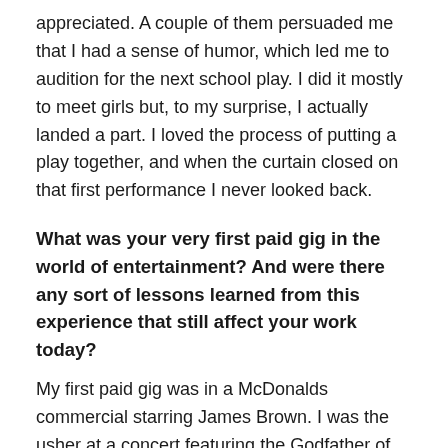appreciated. A couple of them persuaded me that I had a sense of humor, which led me to audition for the next school play. I did it mostly to meet girls but, to my surprise, I actually landed a part. I loved the process of putting a play together, and when the curtain closed on that first performance I never looked back.
What was your very first paid gig in the world of entertainment? And were there any sort of lessons learned from this experience that still affect your work today?
My first paid gig was in a McDonalds commercial starring James Brown. I was the usher at a concert featuring the Godfather of Soul, only to abandon my post when a bunch of...